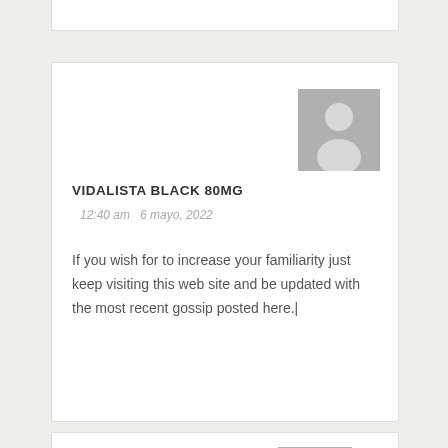[Figure (illustration): Generic user avatar placeholder — grey square with silhouette person icon, for comment author VIDALISTA BLACK 80MG]
VIDALISTA BLACK 80MG
12:40 am   6 mayo, 2022
If you wish for to increase your familiarity just keep visiting this web site and be updated with the most recent gossip posted here.|
[Figure (illustration): Generic user avatar placeholder — grey square with silhouette person icon, partially visible at bottom of page]